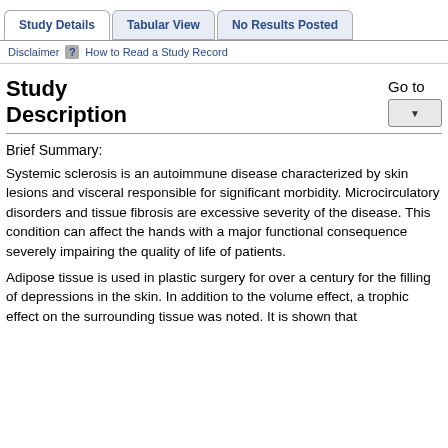Study Details | Tabular View | No Results Posted
Disclaimer | ? How to Read a Study Record
Study Description
Go to
Brief Summary:
Systemic sclerosis is an autoimmune disease characterized by skin lesions and visceral responsible for significant morbidity. Microcirculatory disorders and tissue fibrosis are excessive severity of the disease. This condition can affect the hands with a major functional consequence severely impairing the quality of life of patients.
Adipose tissue is used in plastic surgery for over a century for the filling of depressions in the skin. In addition to the volume effect, a trophic effect on the surrounding tissue was noted. It is shown that